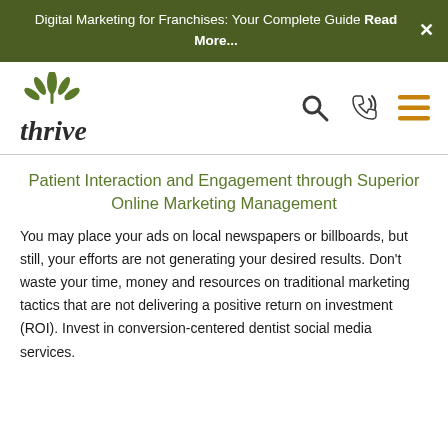Digital Marketing for Franchises: Your Complete Guide Read More...
[Figure (logo): Thrive logo with green leaf/plant icon above the word 'thrive' in dark italic serif font]
[Figure (other): Navigation icons: search magnifying glass, phone/call icon, hamburger menu in orange]
Patient Interaction and Engagement through Superior Online Marketing Management
You may place your ads on local newspapers or billboards, but still, your efforts are not generating your desired results. Don't waste your time, money and resources on traditional marketing tactics that are not delivering a positive return on investment (ROI). Invest in conversion-centered dentist social media services.